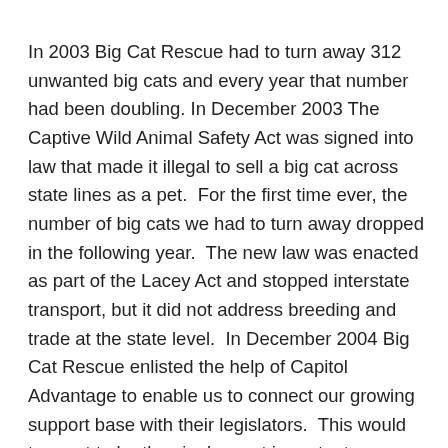In 2003 Big Cat Rescue had to turn away 312 unwanted big cats and every year that number had been doubling. In December 2003 The Captive Wild Animal Safety Act was signed into law that made it illegal to sell a big cat across state lines as a pet.  For the first time ever, the number of big cats we had to turn away dropped in the following year.  The new law was enacted as part of the Lacey Act and stopped interstate transport, but it did not address breeding and trade at the state level.  In December 2004 Big Cat Rescue enlisted the help of Capitol Advantage to enable us to connect our growing support base with their legislators.  This would turn out to be the single most important investment that Big Cat Rescue would make in achieving our mission.